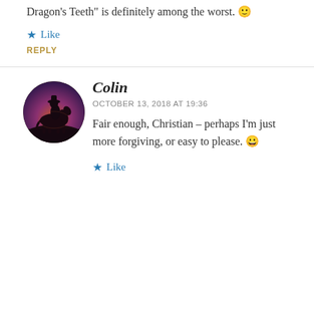Dragon's Teeth is definitely among the worst. 🙂
Like
REPLY
[Figure (photo): Circular avatar photo of a person on horseback silhouetted against a vivid sunset sky in shades of purple, pink, and orange.]
Colin
OCTOBER 13, 2018 AT 19:36
Fair enough, Christian – perhaps I'm just more forgiving, or easy to please. 😀
Like